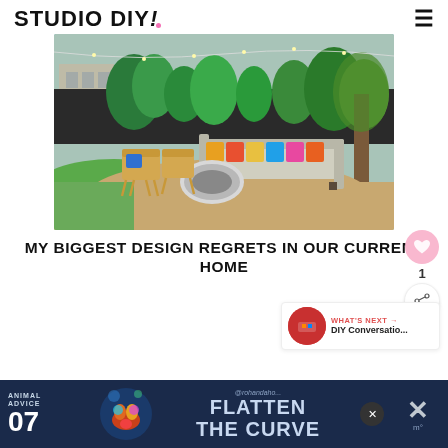STUDIO DIY!
[Figure (photo): Outdoor backyard patio scene with rattan chairs, a circular concrete fire pit, a large L-shaped sectional sofa with colorful pillows, tropical plants against a dark fence, and string lights overhead.]
MY BIGGEST DESIGN REGRETS IN OUR CURRENT HOME
[Figure (infographic): What's Next panel showing a thumbnail and text: WHAT'S NEXT → DIY Conversatio...]
[Figure (infographic): Advertisement banner: ANIMAL ADVICE 07 FLATTEN THE CURVE @rohandaho... with illustration of a colorful animal and an X close button]